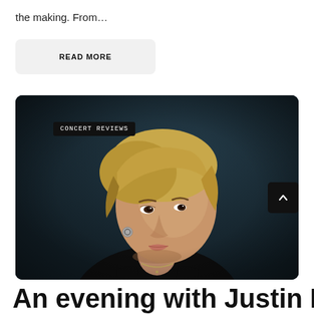the making. From…
READ MORE
[Figure (photo): Portrait photo of a young Asian person with short blonde hair, wearing a black sleeveless top and necklace, looking upward, on a dark teal background. Overlaid with a 'CONCERT REVIEWS' badge label in the upper left and a scroll-up button in the lower right.]
An evening with Justin Partent